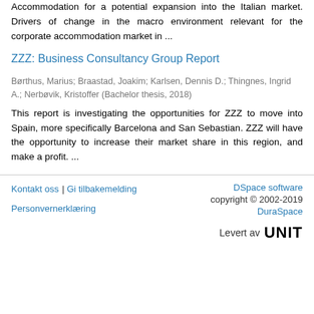Accommodation for a potential expansion into the Italian market. Drivers of change in the macro environment relevant for the corporate accommodation market in ...
ZZZ: Business Consultancy Group Report
Børthus, Marius; Braastad, Joakim; Karlsen, Dennis D.; Thingnes, Ingrid A.; Nerbøvik, Kristoffer (Bachelor thesis, 2018)
This report is investigating the opportunities for ZZZ to move into Spain, more specifically Barcelona and San Sebastian. ZZZ will have the opportunity to increase their market share in this region, and make a profit. ...
Kontakt oss | Gi tilbakemelding | Personvernerklæring | DSpace software | copyright © 2002-2019 | DuraSpace | Levert av UNIT